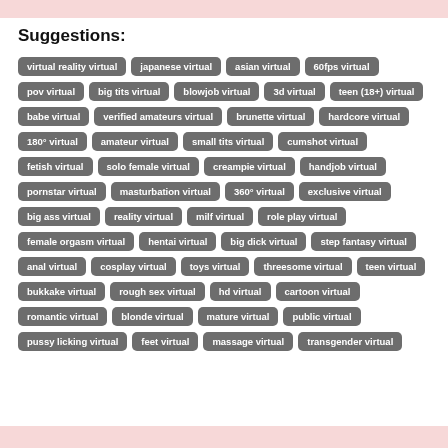Suggestions:
virtual reality virtual
japanese virtual
asian virtual
60fps virtual
pov virtual
big tits virtual
blowjob virtual
3d virtual
teen (18+) virtual
babe virtual
verified amateurs virtual
brunette virtual
hardcore virtual
180° virtual
amateur virtual
small tits virtual
cumshot virtual
fetish virtual
solo female virtual
creampie virtual
handjob virtual
pornstar virtual
masturbation virtual
360° virtual
exclusive virtual
big ass virtual
reality virtual
milf virtual
role play virtual
female orgasm virtual
hentai virtual
big dick virtual
step fantasy virtual
anal virtual
cosplay virtual
toys virtual
threesome virtual
teen virtual
bukkake virtual
rough sex virtual
hd virtual
cartoon virtual
romantic virtual
blonde virtual
mature virtual
public virtual
pussy licking virtual
feet virtual
massage virtual
transgender virtual